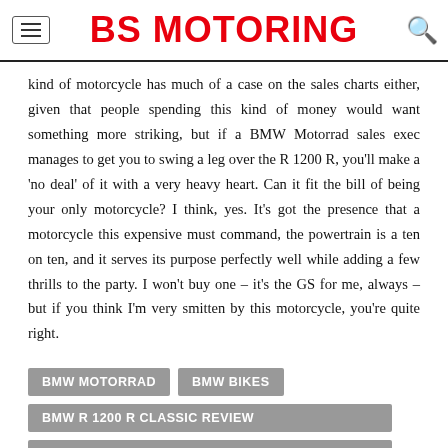BS MOTORING
kind of motorcycle has much of a case on the sales charts either, given that people spending this kind of money would want something more striking, but if a BMW Motorrad sales exec manages to get you to swing a leg over the R 1200 R, you’ll make a ‘no deal’ of it with a very heavy heart. Can it fit the bill of being your only motorcycle? I think, yes. It’s got the presence that a motorcycle this expensive must command, the powertrain is a ten on ten, and it serves its purpose perfectly well while adding a few thrills to the party. I won’t buy one – it’s the GS for me, always – but if you think I’m very smitten by this motorcycle, you’re quite right.
BMW MOTORRAD
BMW BIKES
BMW R 1200 R CLASSIC REVIEW
BMW R1200 R CLASSIC REVIEW INDIA